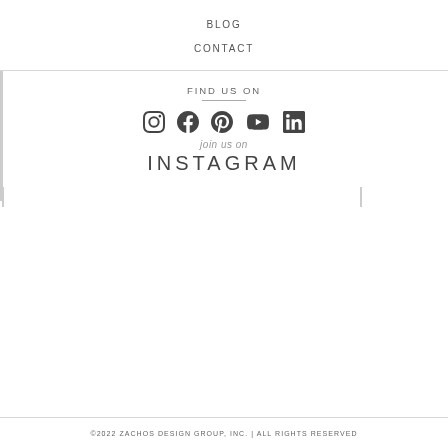BLOG
CONTACT
FIND US ON
[Figure (infographic): Social media icons: Instagram, Facebook, Pinterest, YouTube, LinkedIn]
join us on
INSTAGRAM
[Figure (photo): Three Instagram photo placeholders (broken image icons)]
©2022 ZACHOS DESIGN GROUP, INC. | ALL RIGHTS RESERVED